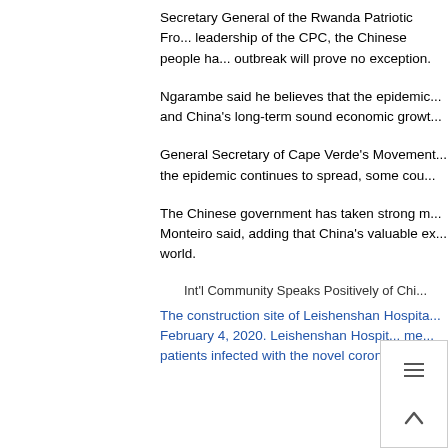Secretary General of the Rwanda Patriotic Fro... leadership of the CPC, the Chinese people ha... outbreak will prove no exception.
Ngarambe said he believes that the epidemic... and China's long-term sound economic growt...
General Secretary of Cape Verde's Movement... the epidemic continues to spread, some cou...
The Chinese government has taken strong m... Monteiro said, adding that China's valuable ex... world.
[Figure (photo): Broken image placeholder with alt text: Int'l Community Speaks Positively of Chi...]
The construction site of Leishenshan Hospita... February 4, 2020. Leishenshan Hospit... me... patients infected with the novel coron... [